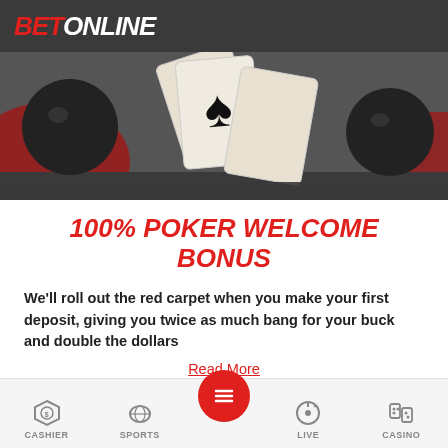BETONLINE
[Figure (illustration): Poker cards and chips photo — playing cards fanned showing spade suit, dark background with red elements]
100% POKER WELCOME BONUS
We'll roll out the red carpet when you make your first deposit, giving you twice as much bang for your buck and double the dollars
Read More
DEPOSIT NOW
CASHIER  SPORTS  LIVE  CASINO